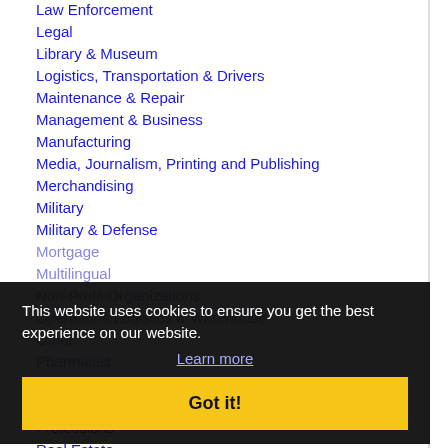Law Enforcement
Legal
Library & Museum
Logistics, Transportation & Drivers
Maintenance & Repair
Management & Business
Manufacturing
Media, Journalism, Printing and Publishing
Merchandising
Military
Military & Defense
Mortgage
Multilingual
Non-Profit Organizations
Operations/Logistics & Warehouse
Other
Pharmacist
PR & Public Relations
Professional
Professions
Real Estate
This website uses cookies to ensure you get the best experience on our website.
Learn more
Got it!